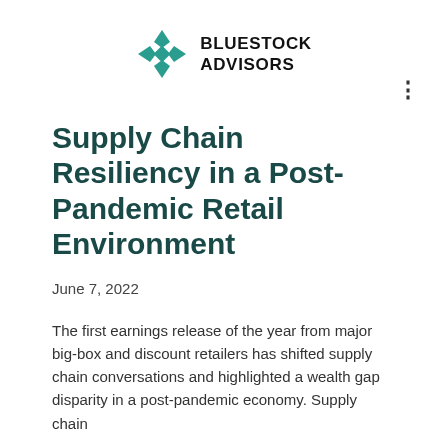[Figure (logo): Bluestock Advisors logo with teal diamond/cross shape icon and bold text 'BLUESTOCK ADVISORS']
Supply Chain Resiliency in a Post-Pandemic Retail Environment
June 7, 2022
The first earnings release of the year from major big-box and discount retailers has shifted supply chain conversations and highlighted a wealth gap disparity in a post-pandemic economy. Supply chain